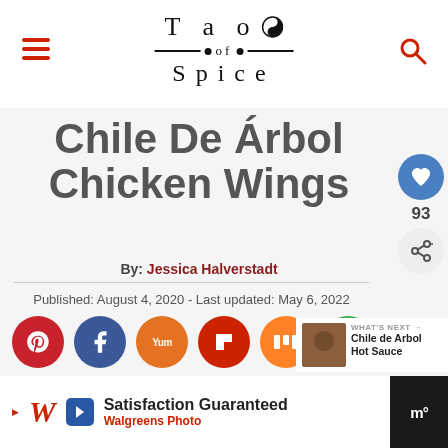Tao of Spice
Chile De Árbol Chicken Wings
By: Jessica Halverstadt
Published: August 4, 2020 - Last updated: May 6, 2022
[Figure (infographic): Social share buttons: Pinterest (red), Facebook (dark blue), Yummly (orange), Flipboard (red), Mix (orange), Email (green)]
[Figure (infographic): Sidebar: heart/like button with count 93, share button. What's Next panel: Chile de Arbol Hot Sauce]
[Figure (infographic): Advertisement banner: Walgreens Photo - Satisfaction Guaranteed]